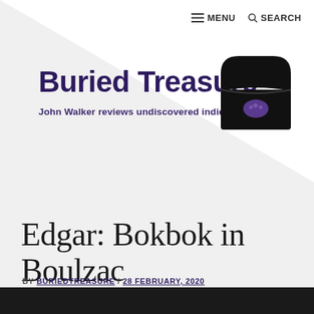≡ MENU  🔍 SEARCH
Buried Treasure
John Walker reviews undiscovered indie gaming gems
[Figure (logo): Black treasure chest icon with purple game controller symbol]
Edgar: Bokbok in Boulzac
BY BURIEDTREASURE / 28 FEBRUARY, 2020
[Figure (photo): Bottom portion of a dark article image, partially visible]